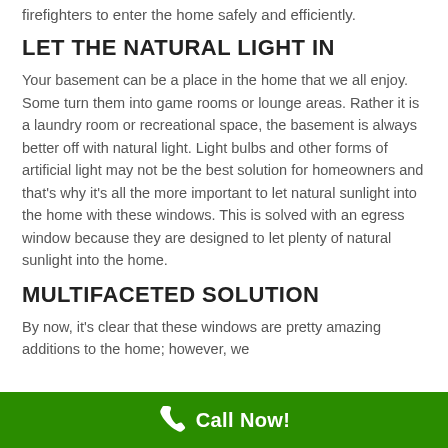firefighters to enter the home safely and efficiently.
LET THE NATURAL LIGHT IN
Your basement can be a place in the home that we all enjoy. Some turn them into game rooms or lounge areas. Rather it is a laundry room or recreational space, the basement is always better off with natural light. Light bulbs and other forms of artificial light may not be the best solution for homeowners and that’s why it’s all the more important to let natural sunlight into the home with these windows. This is solved with an egress window because they are designed to let plenty of natural sunlight into the home.
MULTIFACETED SOLUTION
By now, it’s clear that these windows are pretty amazing additions to the home; however, we
Call Now!